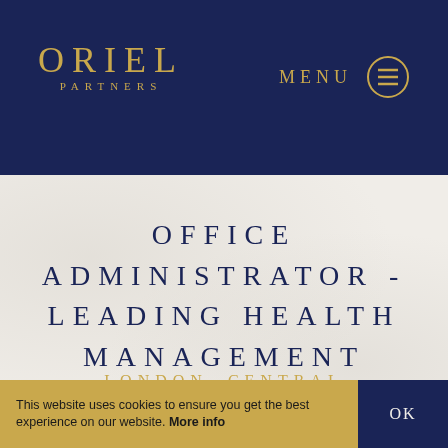[Figure (logo): Oriel Partners logo — gold text 'ORIEL' large with 'PARTNERS' in small caps below, on dark navy background]
OFFICE ADMINISTRATOR - LEADING HEALTH MANAGEMENT COMPANY
LONDON, CENTRAL
This website uses cookies to ensure you get the best experience on our website. More info